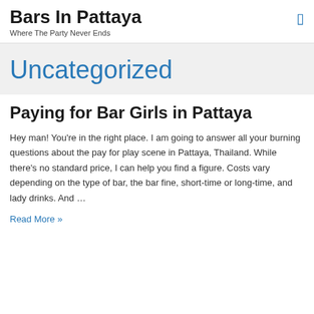Bars In Pattaya
Where The Party Never Ends
Uncategorized
Paying for Bar Girls in Pattaya
Hey man! You're in the right place. I am going to answer all your burning questions about the pay for play scene in Pattaya, Thailand. While there's no standard price, I can help you find a figure. Costs vary depending on the type of bar, the bar fine, short-time or long-time, and lady drinks. And …
Read More »